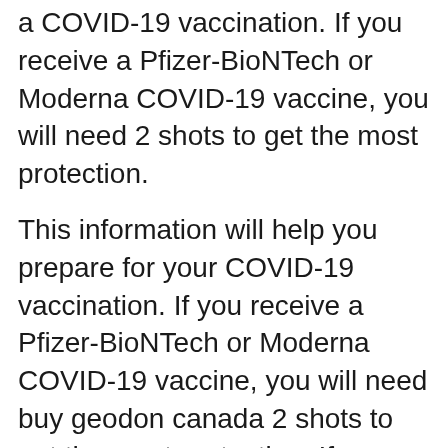a COVID-19 vaccination. If you receive a Pfizer-BioNTech or Moderna COVID-19 vaccine, you will need 2 shots to get the most protection.
This information will help you prepare for your COVID-19 vaccination. If you receive a Pfizer-BioNTech or Moderna COVID-19 vaccine, you will need buy geodon canada 2 shots to get the most protection. If you have an underlying medical condition, this can help you make an informed decision about getting a COVID-19 vaccination. This information will help you make an informed decision about getting a COVID-19 vaccination.
If you receive a Pfizer-BioNTech or Moderna COVID-19 vaccine, you will need 2 shots to get the most protection.